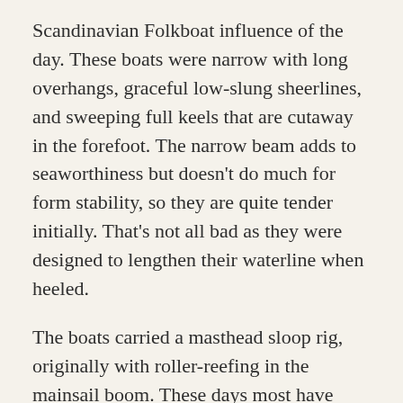Scandinavian Folkboat influence of the day. These boats were narrow with long overhangs, graceful low-slung sheerlines, and sweeping full keels that are cutaway in the forefoot. The narrow beam adds to seaworthiness but doesn't do much for form stability, so they are quite tender initially. That's not all bad as they were designed to lengthen their waterline when heeled.
The boats carried a masthead sloop rig, originally with roller-reefing in the mainsail boom. These days most have reverted back to simple slab reefed mainsails which hold a better shape and do not suffer from jamming.
Bristol 27s came in three flavors, a day sailing model with a large cockpit and small interior, a standard model which had a larger cabin and twin settees, and a